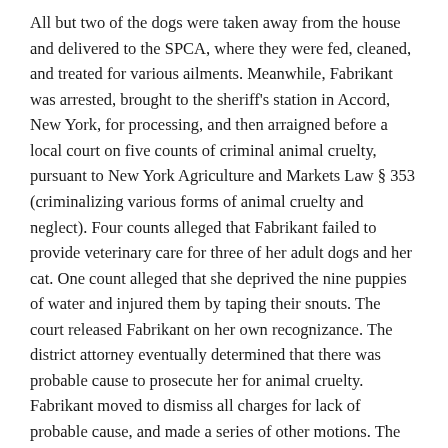All but two of the dogs were taken away from the house and delivered to the SPCA, where they were fed, cleaned, and treated for various ailments. Meanwhile, Fabrikant was arrested, brought to the sheriff's station in Accord, New York, for processing, and then arraigned before a local court on five counts of criminal animal cruelty, pursuant to New York Agriculture and Markets Law § 353 (criminalizing various forms of animal cruelty and neglect). Four counts alleged that Fabrikant failed to provide veterinary care for three of her adult dogs and her cat. One count alleged that she deprived the nine puppies of water and injured them by taping their snouts. The court released Fabrikant on her own recognizance. The district attorney eventually determined that there was probable cause to prosecute her for animal cruelty. Fabrikant moved to dismiss all charges for lack of probable cause, and made a series of other motions. The court denied all of her motions, and Fabrikant proceeded to trial.